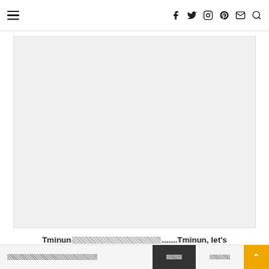Navigation bar with hamburger menu and social icons: facebook, twitter, instagram, pinterest, mail, search
[Figure (photo): Large image placeholder with light gray background, approximately 404x320px]
Tminun〓〓〓〓〓〓〓〓〓〓〓〓〓〓〓〓〓〓〓〓〓〓〓〓〓〓〓〓〓〓〓〓〓〓〓〓〓〓〓〓〓〓〓〓〓〓.......Tminun, let's weave a rainbow on the face!...
〓〓〓〓〓〓〓〓〓〓〓〓〓〓〓〓〓〓〓〓〓〓〓〓〓〓〓 [button] 〓〓〓 [button] 〓〓〓〓 [scroll-to-top]